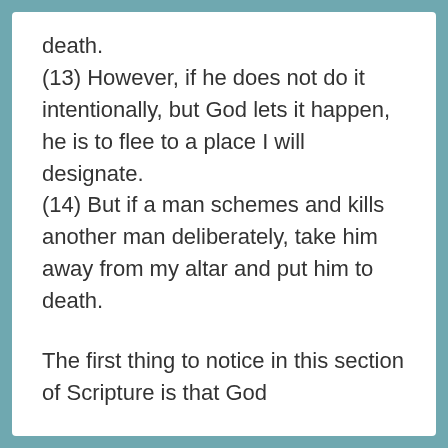death. (13) However, if he does not do it intentionally, but God lets it happen, he is to flee to a place I will designate. (14) But if a man schemes and kills another man deliberately, take him away from my altar and put him to death.
The first thing to notice in this section of Scripture is that God